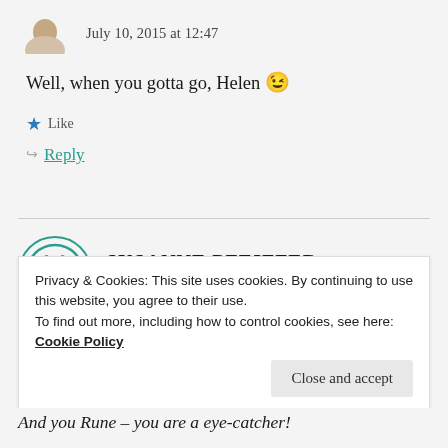July 10, 2015 at 12:47
Well, when you gotta go, Helen 😉
★ Like
↳ Reply
SUSANNE PFEIFFER
July 15, 2015 at 14:17
Hello Rune
Privacy & Cookies: This site uses cookies. By continuing to use this website, you agree to their use.
To find out more, including how to control cookies, see here: Cookie Policy
Close and accept
And you Rune – you are a eye-catcher!